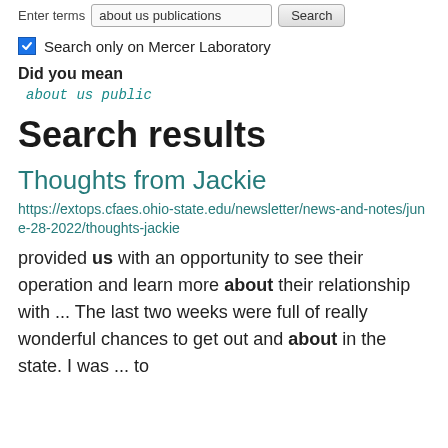Enter terms  about us publications  Search
Search only on Mercer Laboratory
Did you mean
about us public
Search results
Thoughts from Jackie
https://extops.cfaes.ohio-state.edu/newsletter/news-and-notes/june-28-2022/thoughts-jackie
provided us with an opportunity to see their operation and learn more about their relationship with ... The last two weeks were full of really wonderful chances to get out and about in the state. I was ... to